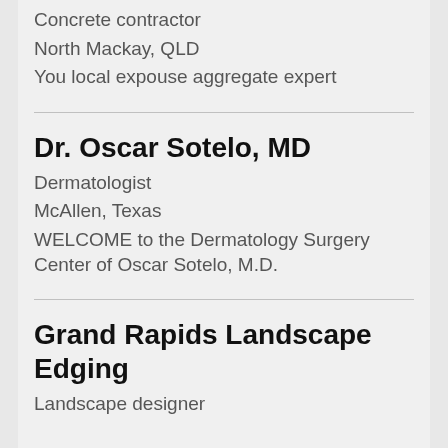Concrete contractor
North Mackay, QLD
You local expouse aggregate expert
Dr. Oscar Sotelo, MD
Dermatologist
McAllen, Texas
WELCOME to the Dermatology Surgery Center of Oscar Sotelo, M.D.
Grand Rapids Landscape Edging
Landscape designer